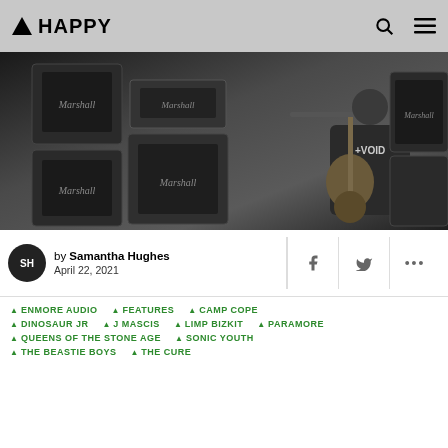▲ HAPPY
[Figure (photo): Black and white photo of a guitarist performing on stage in front of Marshall amplifier stacks. The musician is wearing a dark t-shirt and playing an electric guitar.]
by Samantha Hughes
April 22, 2021
▲ ENMORE AUDIO
▲ FEATURES
▲ CAMP COPE
▲ DINOSAUR JR
▲ J MASCIS
▲ LIMP BIZKIT
▲ PARAMORE
▲ QUEENS OF THE STONE AGE
▲ SONIC YOUTH
▲ THE BEASTIE BOYS
▲ THE CURE